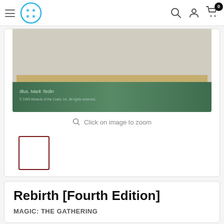Navigation header with hamburger menu, star logo, search icon, account icon, and cart (0)
[Figure (photo): Partial view of a Magic: The Gathering card showing green card art with tan bar, illustrator credit 'Illus. Mark Tedin' and copyright '© 1995 Wizards of the Coast, Inc. All rights reserved.']
Click on image to zoom
[Figure (photo): Small thumbnail placeholder of the card with dark red border]
Rebirth [Fourth Edition]
MAGIC: THE GATHERING